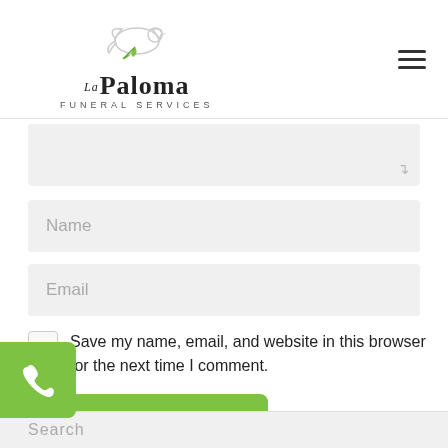[Figure (logo): La Paloma Funeral Services logo with a dove and leaf illustration above the text 'La Paloma' and 'FUNERAL SERVICES']
Name
Email
Save my name, email, and website in this browser for the next time I comment.
Post Comment
Search